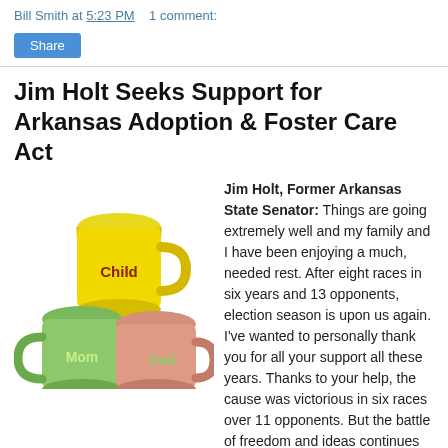Bill Smith at 5:23 PM   1 comment:
Share
Jim Holt Seeks Support for Arkansas Adoption & Foster Care Act
[Figure (photo): Three colorful mugs labeled Child (yellow), Mom (green), and Dad (pink/salmon), arranged together.]
Jim Holt, Former Arkansas State Senator: Things are going extremely well and my family and I have been enjoying a much, needed rest. After eight races in six years and 13 opponents, election season is upon us again. I've wanted to personally thank you for all your support all these years. Thanks to your help, the cause was victorious in six races over 11 opponents. But the battle of freedom and ideas continues to wage in the public arena.